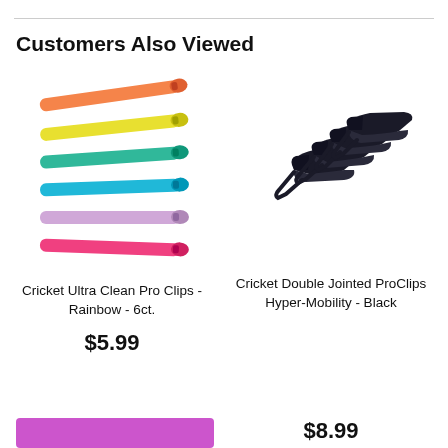Customers Also Viewed
[Figure (photo): Cricket Ultra Clean Pro Clips in six colors: orange, yellow, teal-green, cyan, lavender, pink — arranged vertically, each clip pointing right]
[Figure (photo): Cricket Double Jointed ProClips Hyper-Mobility in black — multiple dark alligator-style clips clustered together]
Cricket Ultra Clean Pro Clips - Rainbow - 6ct.
$5.99
Cricket Double Jointed ProClips Hyper-Mobility - Black
$8.99